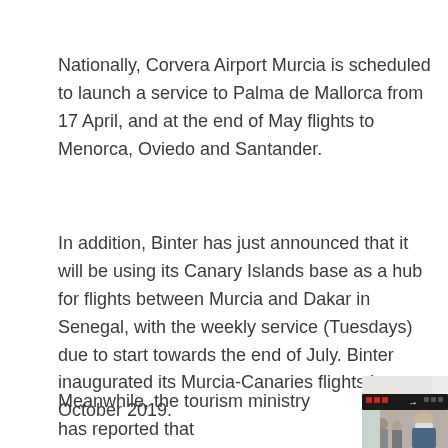Nationally, Corvera Airport Murcia is scheduled to launch a service to Palma de Mallorca from 17 April, and at the end of May flights to Menorca, Oviedo and Santander.
In addition, Binter has just announced that it will be using its Canary Islands base as a hub for flights between Murcia and Dakar in Senegal, with the weekly service (Tuesdays) due to start towards the end of July. Binter inaugurated its Murcia-Canaries flights in October 2019.
Meanwhile, the tourism ministry has reported that
[Figure (photo): Airport interior photo showing a man wearing a face mask in front of airport signage with directional arrows]